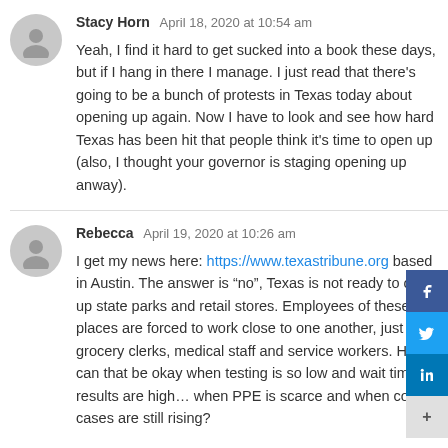Stacy Horn  April 18, 2020 at 10:54 am
Yeah, I find it hard to get sucked into a book these days, but if I hang in there I manage. I just read that there's going to be a bunch of protests in Texas today about opening up again. Now I have to look and see how hard Texas has been hit that people think it's time to open up (also, I thought your governor is staging opening up anway).
Rebecca  April 19, 2020 at 10:26 am
I get my news here: https://www.texastribune.org based in Austin. The answer is “no”, Texas is not ready to open up state parks and retail stores. Employees of these places are forced to work close to one another, just as grocery clerks, medical staff and service workers. How can that be okay when testing is so low and wait times for results are high… when PPE is scarce and when covid cases are still rising?